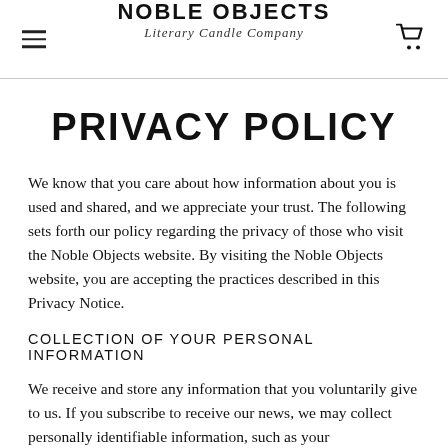NOBLE OBJECTS / Literary Candle Company
PRIVACY POLICY
We know that you care about how information about you is used and shared, and we appreciate your trust. The following sets forth our policy regarding the privacy of those who visit the Noble Objects website. By visiting the Noble Objects website, you are accepting the practices described in this Privacy Notice.
COLLECTION OF YOUR PERSONAL INFORMATION
We receive and store any information that you voluntarily give to us. If you subscribe to receive our news, we may collect personally identifiable information, such as your